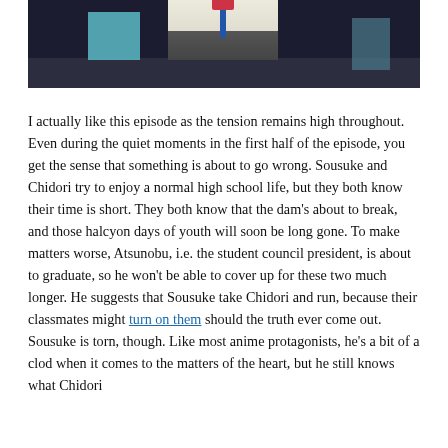[Figure (screenshot): Anime screenshot showing characters in school uniforms standing in a dark room with teal/blue geometric boxes in the background]
I actually like this episode as the tension remains high throughout. Even during the quiet moments in the first half of the episode, you get the sense that something is about to go wrong. Sousuke and Chidori try to enjoy a normal high school life, but they both know their time is short. They both know that the dam's about to break, and those halcyon days of youth will soon be long gone. To make matters worse, Atsunobu, i.e. the student council president, is about to graduate, so he won't be able to cover up for these two much longer. He suggests that Sousuke take Chidori and run, because their classmates might turn on them should the truth ever come out. Sousuke is torn, though. Like most anime protagonists, he's a bit of a clod when it comes to the matters of the heart, but he still knows what Chidori